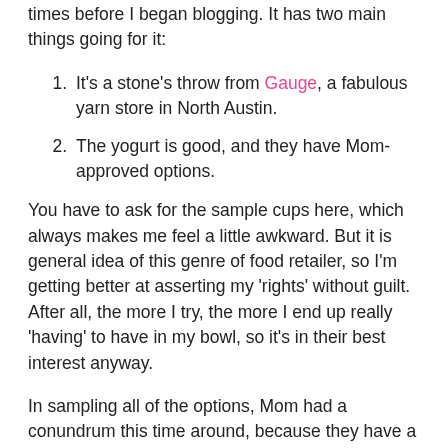times before I began blogging.  It has two main things going for it:
It's a stone's throw from Gauge, a fabulous yarn store in North Austin.
The yogurt is good, and they have Mom-approved options.
You have to ask for the sample cups here, which always makes me feel a little awkward.  But it is general idea of this genre of food retailer, so I'm getting better at asserting my 'rights' without guilt.  After all, the more I try, the more I end up really 'having' to have in my bowl, so it's in their best interest anyway.
In sampling all of the options, Mom had a conundrum this time around, because they have a really good Capitol Coffee flavor that she liked, but she also loved the Mango and Raspberry Pomegranate sorbets, as well as the Pineapple.  She didn't dare mix them, so she just went with the fruity ones.  I did the same, but included a little cameo appearance by Cake Batter, because it tasted too darn good